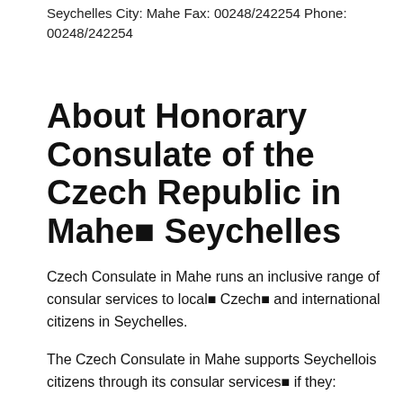Seychelles City: Mahe Fax: 00248/242254 Phone: 00248/242254
About Honorary Consulate of the Czech Republic in Mahe■ Seychelles
Czech Consulate in Mahe runs an inclusive range of consular services to local■ Czech■ and international citizens in Seychelles.
The Czech Consulate in Mahe supports Seychellois citizens through its consular services■ if they: